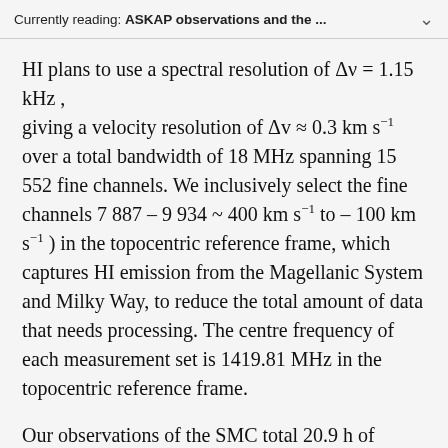Currently reading: ASKAP observations and the ...
HI plans to use a spectral resolution of Δν = 1.15 kHz, giving a velocity resolution of Δv ≈ 0.3 km s⁻¹ over a total bandwidth of 18 MHz spanning 15 552 fine channels. We inclusively select the fine channels 7 887 – 9 934 ~ 400 km s⁻¹ to – 100 km s⁻¹) in the topocentric reference frame, which captures HI emission from the Magellanic System and Milky Way, to reduce the total amount of data that needs processing. The centre frequency of each measurement set is 1419.81 MHz in the topocentric reference frame.
Our observations of the SMC total 20.9 h of integration, split equally into two separate sessions. Each session is known as a schedule block (SB) and identified with IDs (SBIDs) 10941 and 10944, making it easier to identify observations in the CSIRO ASKAP Science Data Archive.